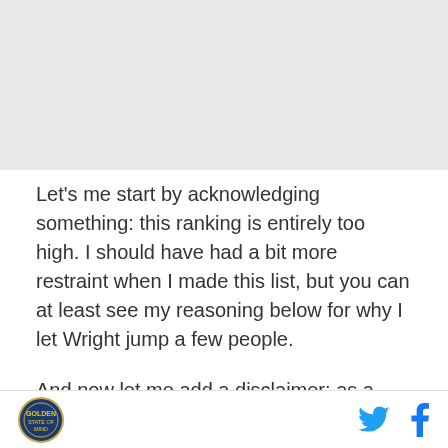[Figure (other): Top image area (appears to be a photo or article header image, content not fully visible)]
Let's me start by acknowledging something: this ranking is entirely too high. I should have had a bit more restraint when I made this list, but you can at least see my reasoning below for why I let Wright jump a few people.
And now let me add a disclaimer: as a reminder, this list is only for Wright's time while on the Warriors with Steph Curry, so his first two years are not included in
[Golden State of Mind logo] [Twitter icon] [Facebook icon]